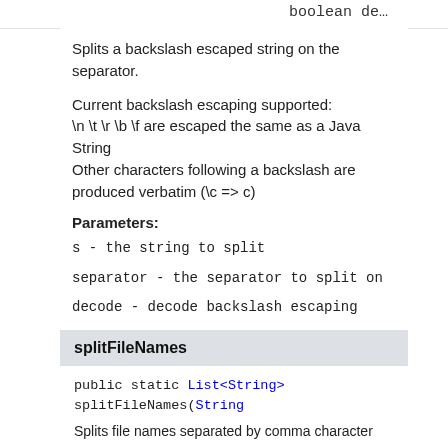boolean de…
Splits a backslash escaped string on the separator.
Current backslash escaping supported:
\n \t \r \b \f are escaped the same as a Java String
Other characters following a backslash are produced verbatim (\c => c)
Parameters:
s - the string to split
separator - the separator to split on
decode - decode backslash escaping
Returns:
not null
splitFileNames
public static List<String> splitFileNames(String
Splits file names separated by comma character